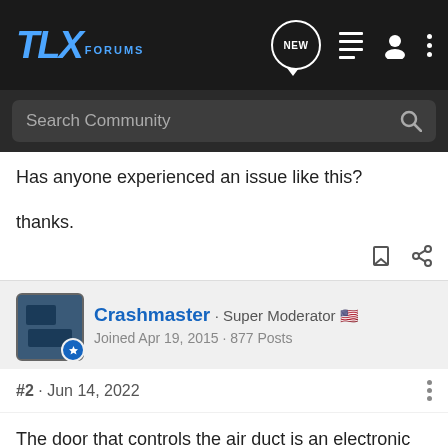TLX FORUMS — navigation bar with search
Has anyone experienced an issue like this?

thanks.
Crashmaster · Super Moderator 🇺🇸
Joined Apr 19, 2015 · 877 Posts
#2 · Jun 14, 2022
The door that controls the air duct is an electronic motor. That could be bad. My first thought is: Has anyone replaced or removed the interior air filter? I've seen some of these come apart and cause problems. Many times if you take your vehicle